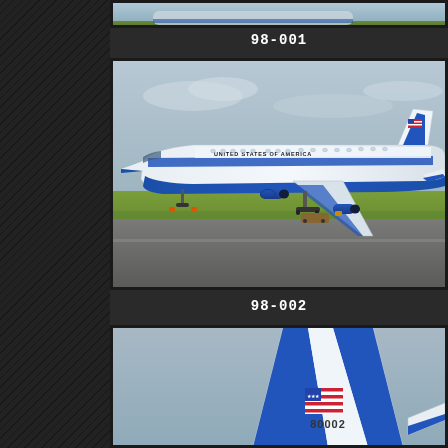[Figure (photo): Partial view of an aircraft photo at top of page (cropped)]
98-001
[Figure (photo): United States of America Air Force Boeing C-32 (757) aircraft on tarmac with blue stripe livery, grassy field in background, overcast sky]
98-002
[Figure (photo): Tail section of a United States of America Air Force aircraft showing blue and white livery, American flag, and tail number 80002, against grey sky background]